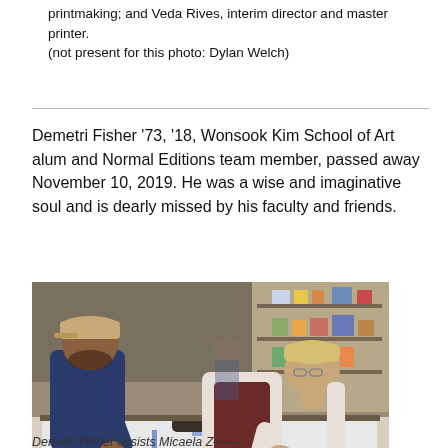printmaking; and Veda Rives, interim director and master printer. (not present for this photo: Dylan Welch)
Demetri Fisher '73, '18, Wonsook Kim School of Art alum and Normal Editions team member, passed away November 10, 2019. He was a wise and imaginative soul and is dearly missed by his faculty and friends.
[Figure (photo): Two people working at a printmaking table in a print shop, one wearing a tan cap and dark shirt, the other wearing a white shirt and dark apron, rolling what appears to be a printing plate on a large flat surface. Shelves with supplies visible in the background.]
Demetri Fisher assists Micaela Z—— [text cut off]